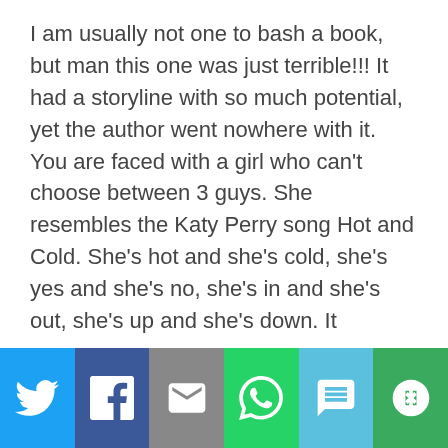I am usually not one to bash a book, but man this one was just terrible!!! It had a storyline with so much potential, yet the author went nowhere with it. You are faced with a girl who can't choose between 3 guys. She resembles the Katy Perry song Hot and Cold. She's hot and she's cold, she's yes and she's no, she's in and she's out, she's up and she's down. It
[Figure (other): Social media share bar with six buttons: Twitter (blue bird icon), Facebook (blue f icon), Email (grey envelope icon), WhatsApp (green phone icon), SMS (blue SMS bubble icon), Other/share (green circular arrows icon)]